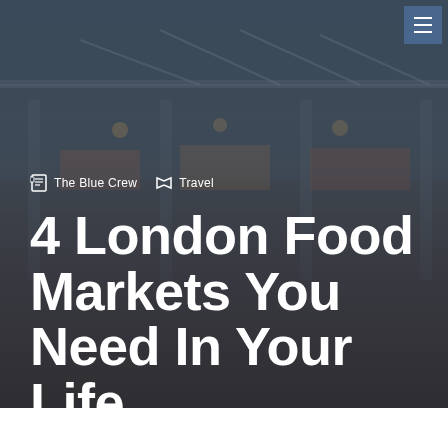[Figure (photo): Background hero image of a London food market hall with glass roof and ornate architecture, darkened with overlay]
☰ (hamburger menu icon)
The Blue Crew   Travel
4 London Food Markets You Need In Your Life